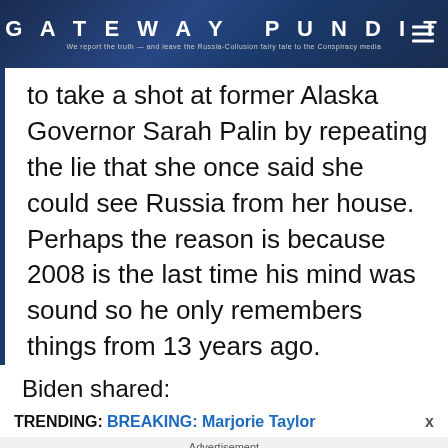GATEWAY PUNDIT — We report the truth — and leave the Russia-Collusion fairy tale to the Conspiracy media
to take a shot at former Alaska Governor Sarah Palin by repeating the lie that she once said she could see Russia from her house. Perhaps the reason is because 2008 is the last time his mind was sound so he only remembers things from 13 years ago.
Biden shared:
TRENDING: BREAKING: Marjorie Taylor
Advertisement
[Figure (photo): Advertisement image showing a woman sitting on a couch looking at a phone, with text 'Does My Ex Want Me Back? 8 Signs' from Brainberries]